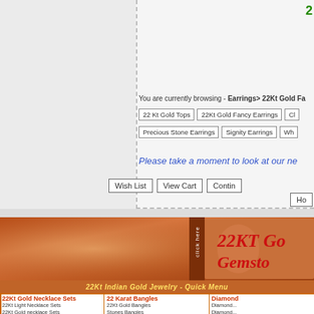You are currently browsing - Earrings> 22Kt Gold Fa...
22 Kt Gold Tops
22Kt Gold Fancy Earrings
Cl...
Precious Stone Earrings
Signity Earrings
Wh...
Please take a moment to look at our ne...
Wish List   View Cart   Contin...
Ho...
[Figure (illustration): 22Kt Gold Gemstone jewelry banner with orange/brown gradient background, click here tab, and decorative jewelry image]
22Kt Indian Gold Jewelry - Quick Menu
22Kt Gold Necklace Sets
22Kt Light Necklace Sets
22Kt Gold necklace Sets
22Kt Precious Stone Sets
22KT Bridal Necklace Sets
22 Karat Bangles
22Kt Gold Bangles
Stones Bangles
Antique Indian Bangles
22Kt Gold Kadas
Diamond...
Diamond...
Diamond...
Diamond...
Diamond...